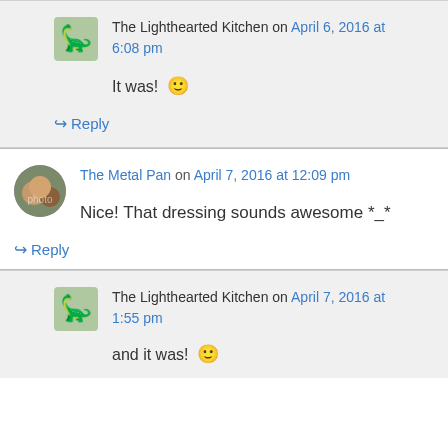The Lighthearted Kitchen on April 6, 2016 at 6:08 pm
It was! 🙂
↪ Reply
The Metal Pan on April 7, 2016 at 12:09 pm
Nice! That dressing sounds awesome *_*
↪ Reply
The Lighthearted Kitchen on April 7, 2016 at 1:55 pm
and it was! 🙂